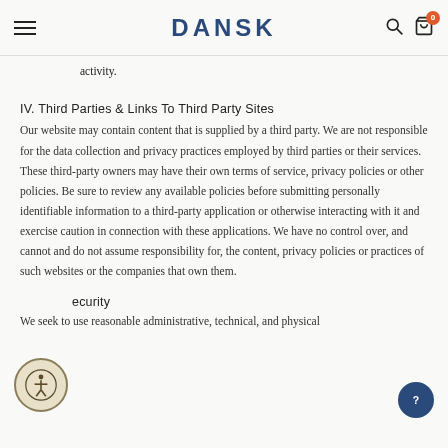DANSK
activity.
IV. Third Parties & Links To Third Party Sites
Our website may contain content that is supplied by a third party. We are not responsible for the data collection and privacy practices employed by third parties or their services. These third-party owners may have their own terms of service, privacy policies or other policies. Be sure to review any available policies before submitting personally identifiable information to a third-party application or otherwise interacting with it and exercise caution in connection with these applications. We have no control over, and cannot and do not assume responsibility for, the content, privacy policies or practices of such websites or the companies that own them.
V. Security
We seek to use reasonable administrative, technical, and physical